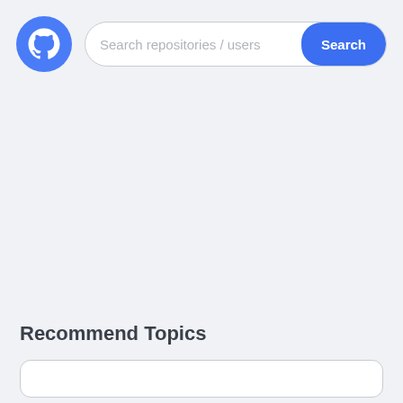[Figure (logo): GitHub logo — white cat/octocat icon on a solid blue circle background]
Search repositories / users
Search
Recommend Topics